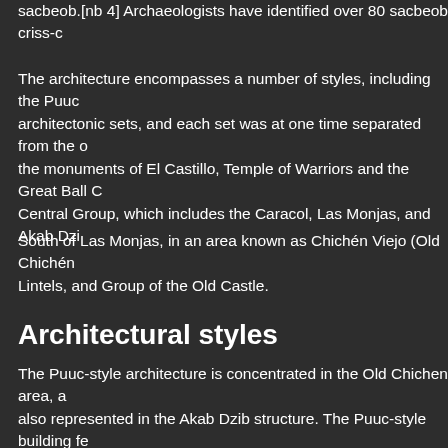sacbeob.[nb 4] Archaeologists have identified over 80 sacbeob criss-c
The architecture encompasses a number of styles, including the Puuc architectonic sets, and each set was at one time separated from the o the monuments of El Castillo, Temple of Warriors and the Great Ball C Central Group, which includes the Caracol, Las Monjas, and Akab Dzi
South of Las Monjas, in an area known as Chichén Viejo (Old Chichén Lintels, and Group of the Old Castle.
Architectural styles
The Puuc-style architecture is concentrated in the Old Chichen area, also represented in the Akab Dzib structure. The Puuc-style building f heartland in their block masonry walls, as opposed to the fine veneers
At least one structure in the Las Monjas Group features an ornate façade north of Campeche state, lying between the Puuc and Río Bec regions